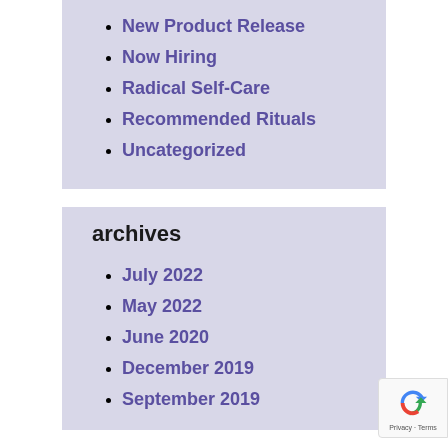New Product Release
Now Hiring
Radical Self-Care
Recommended Rituals
Uncategorized
archives
July 2022
May 2022
June 2020
December 2019
September 2019